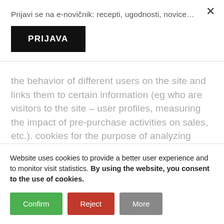Prijavi se na e-novičnik: recepti, ugodnosti, novice…
PRIJAVA
the behavior of different users on the site and links them to certain information (eg who are visitors to the site – user profiles, measuring the impact of pre-purchase activities on sales, etc.). cookies for the purpose of analyzing traffic) counting visitors identifying browsers and keywords
Website uses cookies to provide a better user experience and to monitor visit statistics. By using the website, you consent to the use of cookies.
Confirm
Reject
More